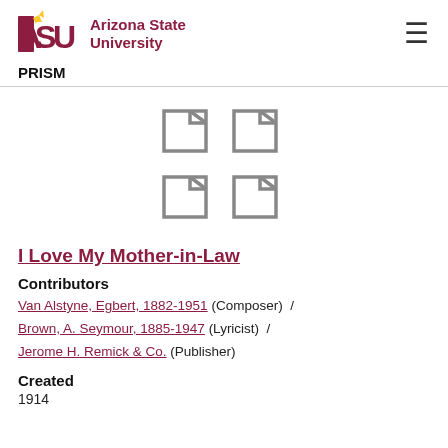ASU Arizona State University PRISM
[Figure (illustration): Four document/file icons arranged in a 2x2 grid, gray outline style]
I Love My Mother-in-Law
Contributors
Van Alstyne, Egbert, 1882-1951 (Composer) / Brown, A. Seymour, 1885-1947 (Lyricist) / Jerome H. Remick & Co. (Publisher)
Created
1914